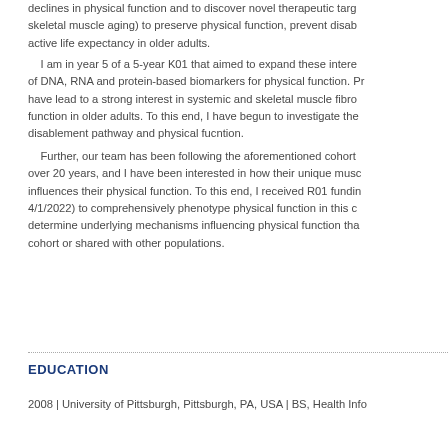declines in physical function and to discover novel therapeutic targets (e.g., skeletal muscle aging) to preserve physical function, prevent disability, and extend active life expectancy in older adults.
I am in year 5 of a 5-year K01 that aimed to expand these interests through the use of DNA, RNA and protein-based biomarkers for physical function. Preliminary findings have lead to a strong interest in systemic and skeletal muscle fibrosis and physical function in older adults. To this end, I have begun to investigate the role of fibrosis in the disablement pathway and physical fucntion.
Further, our team has been following the aforementioned cohort of older adults for over 20 years, and I have been interested in how their unique muscle composition influences their physical function. To this end, I received R01 funding (9/1/2021 - 4/1/2022) to comprehensively phenotype physical function in this cohort and to determine underlying mechanisms influencing physical function that are unique to this cohort or shared with other populations.
EDUCATION
2008 | University of Pittsburgh, Pittsburgh, PA, USA | BS, Health Info